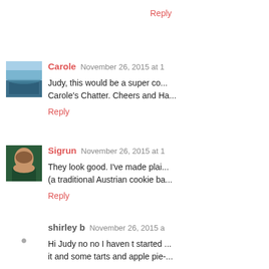Reply
Carole  November 26, 2015 at 1...
Judy, this would be a super co... Carole's Chatter. Cheers and Ha...
Reply
Sigrun  November 26, 2015 at 1...
They look good. I've made plai... (a traditional Austrian cookie ba...
Reply
shirley b  November 26, 2015 a...
Hi Judy no no I haven t started ... it and some tarts and apple pie-...
Reply